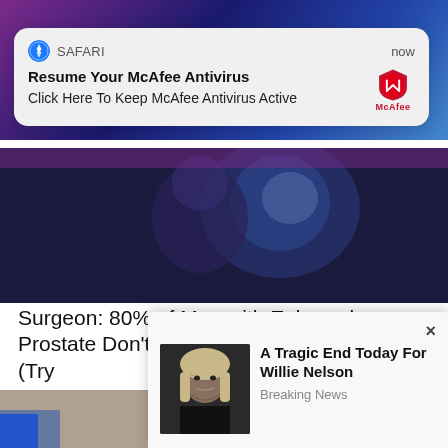[Figure (screenshot): Screenshot of a mobile browser (Safari) with notification popup and news article feed]
SAFARI    now
Resume Your McAfee Antivirus
Click Here To Keep McAfee Antivirus Active
[Figure (photo): Dark background article image, possibly medical or brain imagery]
Surgeon: 80% of Men with Enlarged Prostate Don't Know About This Easy Fix (Try
Gorilla Flow
[Figure (photo): Person pouring liquid on hair, hair treatment article image]
×
[Figure (photo): Elderly man, Willie Nelson]
A Tragic End Today For Willie Nelson
Breaking News